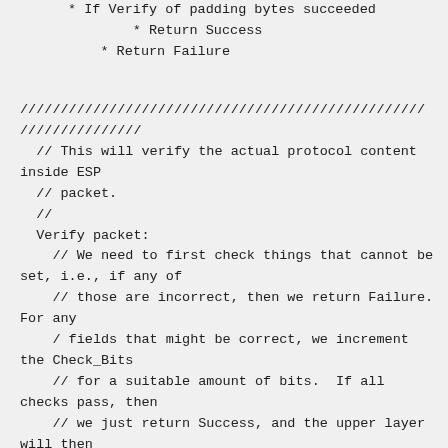* If Verify of padding bytes succeeded
* Return Success
* Return Failure
//////////////////////////////////////////////////
//////////////
  // This will verify the actual protocol content inside ESP
  // packet.
  //
  Verify packet:
    // We need to first check things that cannot be set, i.e., if any of
    // those are incorrect, then we return Failure.  For any
    / fields that might be correct, we increment the Check_Bits
    // for a suitable amount of bits.  If all checks pass, then
    // we just return Success, and the upper layer will then
    // later check if we have enough bits